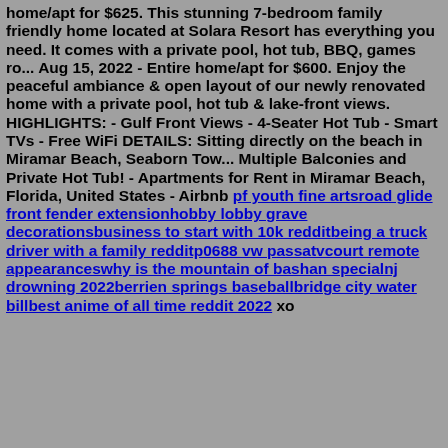home/apt for $625. This stunning 7-bedroom family friendly home located at Solara Resort has everything you need. It comes with a private pool, hot tub, BBQ, games ro... Aug 15, 2022 - Entire home/apt for $600. Enjoy the peaceful ambiance & open layout of our newly renovated home with a private pool, hot tub & lake-front views. HIGHLIGHTS: - Gulf Front Views - 4-Seater Hot Tub - Smart TVs - Free WiFi DETAILS: Sitting directly on the beach in Miramar Beach, Seaborn Tow... Multiple Balconies and Private Hot Tub! - Apartments for Rent in Miramar Beach, Florida, United States - Airbnb pf youth fine artsroad glide front fender extensionhobby lobby grave decorationsbusiness to start with 10k redditbeing a truck driver with a family redditp0688 vw passatvcourt remote appearanceswhy is the mountain of bashan specialnj drowning 2022berrien springs baseballbridge city water billbest anime of all time reddit 2022 xo